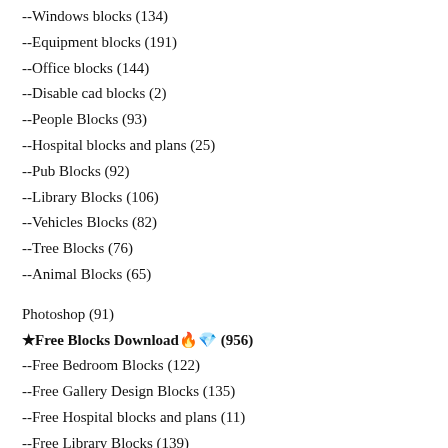--Windows blocks (134)
--Equipment blocks (191)
--Office blocks (144)
--Disable cad blocks (2)
--People Blocks (93)
--Hospital blocks and plans (25)
--Pub Blocks (92)
--Library Blocks (106)
--Vehicles Blocks (82)
--Tree Blocks (76)
--Animal Blocks (65)
Photoshop (91)
★Free Blocks Download🔥💎 (956)
--Free Bedroom Blocks (122)
--Free Gallery Design Blocks (135)
--Free Hospital blocks and plans (11)
--Free Library Blocks (139)
--Free Pub Blocks (37)
--Free Stadium Blocks and Plans (57)
--Free Stadium blocks (45)